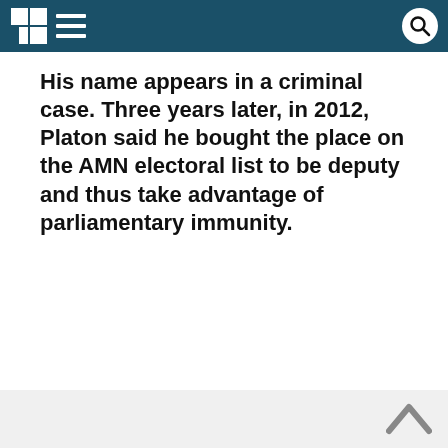His name appears in a criminal case. Three years later, in 2012, Platon said he bought the place on the AMN electoral list to be deputy and thus take advantage of parliamentary immunity.